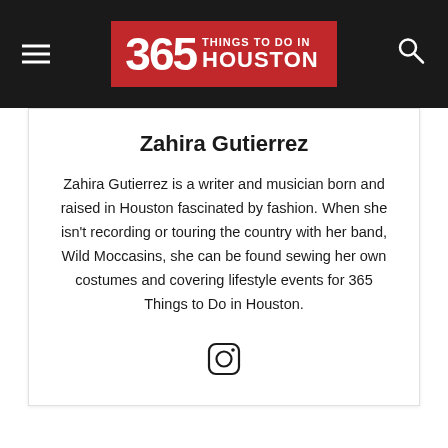365 Things to Do in Houston
Zahira Gutierrez
Zahira Gutierrez is a writer and musician born and raised in Houston fascinated by fashion. When she isn't recording or touring the country with her band, Wild Moccasins, she can be found sewing her own costumes and covering lifestyle events for 365 Things to Do in Houston.
[Figure (illustration): Instagram social media icon (camera outline with inner circle)]